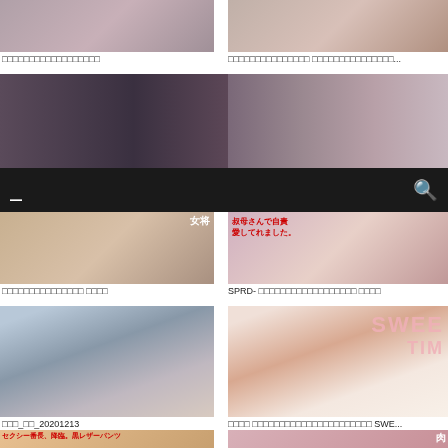[Figure (screenshot): Top-left thumbnail: composite collage image]
□□□□□□□□□□□□□□□□□□
[Figure (screenshot): Top-right thumbnail: composite collage image]
□□□□□□□□□□□□□□□ □□□□□□□□□□□□□□□...
[Figure (screenshot): Mid-left banner image with Japanese text 肉体奴隷]
[Figure (screenshot): Mid-right banner image]
[Figure (screenshot): Nav bar with icons]
[Figure (screenshot): Lower-left thumbnail: movie cover with 宮咲ゆう 女将]
□□□□□□□□□□□□□□□ □□□□
[Figure (screenshot): Lower-right thumbnail: SPRD- cover]
SPRD- □□□□□□□□□□□□□□□□□□ □□□□
[Figure (photo): Blue-haired person photo]
□□□_□□_20201213
[Figure (photo): Redhead person with SWEET TIM cover text]
□□□□ □□□□□□□□□□□□□□□□□□□□□□ SWE...
[Figure (screenshot): Bottom-left: manga cover セクシー番長、降臨。黒レザーパンツ 白いザー...]
[Figure (screenshot): Bottom-right: manga cover with 肉 text]